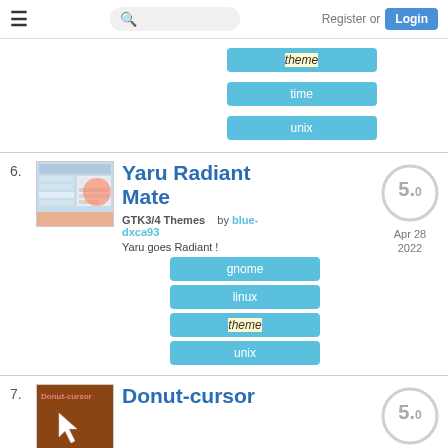Register or Login
theme
time
unix
6.
Yaru Radiant Mate
GTK3/4 Themes   by blue-dxca93
Yaru goes Radiant !
gnome
linux
theme
unix
5.0
Apr 28 2022
7.
Donut-cursor
5.0